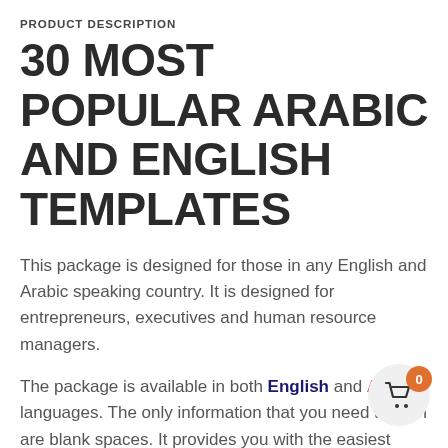PRODUCT DESCRIPTION
30 MOST POPULAR ARABIC AND ENGLISH TEMPLATES
This package is designed for those in any English and Arabic speaking country. It is designed for entrepreneurs, executives and human resource managers.
The package is available in both English and Arabic languages. The only information that you need to fill in are blank spaces. It provides you with the easiest means of filling any kind of details that you need to display.